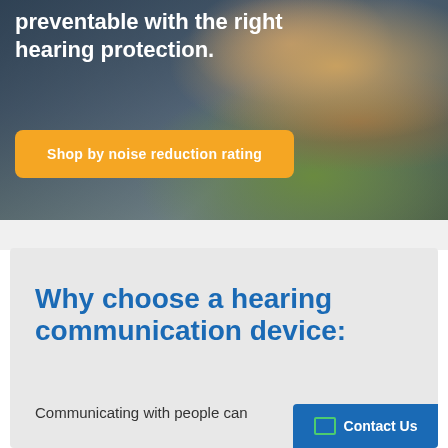[Figure (photo): A worker wearing yellow high-visibility jacket and ear protection/hearing device, viewed close-up from the side against a blurred outdoor background.]
preventable with the right hearing protection.
Shop by noise reduction rating
Why choose a hearing communication device:
Communicating with people can
Contact Us